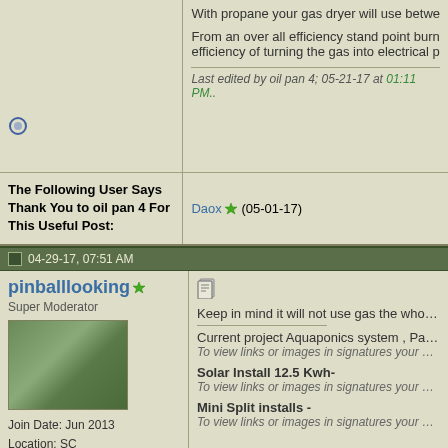With propane your gas dryer will use betwe...
From an over all efficiency stand point burn... efficiency of turning the gas into electrical p...
Last edited by oil pan 4; 05-21-17 at 01:11 PM..
[Figure (other): Online status icon - small blue circle]
The Following User Says Thank You to oil pan 4 For This Useful Post:
Daox (05-01-17)
04-29-17, 07:51 AM
pinballlooking
Super Moderator
[Figure (photo): Avatar photo showing a house with solar panels]
Join Date: Jun 2013
Location: SC
Posts: 2,915
Thanks: 171
Thanked 558 Times in 458 Posts
[Figure (other): Post/reply icon]
Keep in mind it will not use gas the whole t...
Current project Aquaponics system , Passi...
To view links or images in signatures your post cour...
Solar Install 12.5 Kwh-
To view links or images in signatures your post cour...
Mini Split installs -
To view links or images in signatures your post cour...